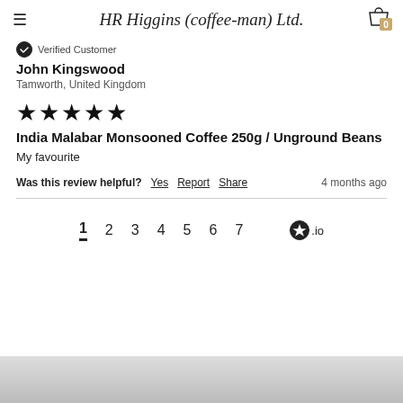H.R. Higgins (coffee-man) Ltd.
Verified Customer
John Kingswood
Tamworth, United Kingdom
★★★★★
India Malabar Monsooned Coffee 250g / Unground Beans
My favourite
Was this review helpful? Yes Report Share   4 months ago
1 2 3 4 5 6 7
[Figure (photo): Partial image at bottom of page]